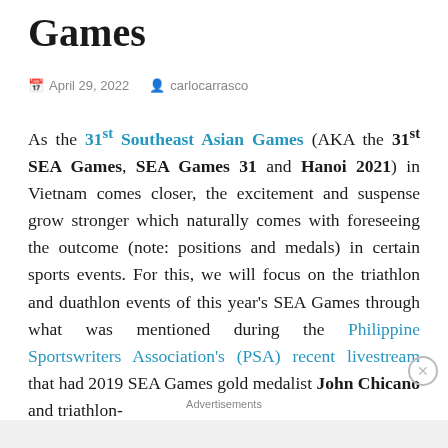Games
April 29, 2022   carlocarrasco
As the 31st Southeast Asian Games (AKA the 31st SEA Games, SEA Games 31 and Hanoi 2021) in Vietnam comes closer, the excitement and suspense grow stronger which naturally comes with foreseeing the outcome (note: positions and medals) in certain sports events. For this, we will focus on the triathlon and duathlon events of this year's SEA Games through what was mentioned during the Philippine Sportswriters Association's (PSA) recent livestream that had 2019 SEA Games gold medalist John Chicano and triathlon-
Advertisements